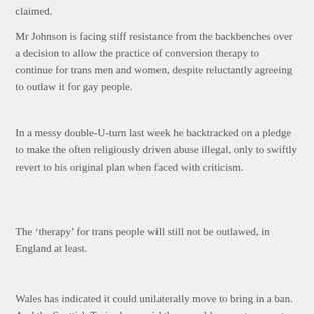claimed.
Mr Johnson is facing stiff resistance from the backbenches over a decision to allow the practice of conversion therapy to continue for trans men and women, despite reluctantly agreeing to outlaw it for gay people.
In a messy double-U-turn last week he backtracked on a pledge to make the often religiously driven abuse illegal, only to swiftly revert to his original plan when faced with criticism.
The ‘therapy’ for trans people will still not be outlawed, in England at least.
Wales has indicated it could unilaterally move to bring in a ban. And the Scottish Tories have said they would support moves to make it illegal at Holyrood.
Sir Keir Starmer has said ministers should honour